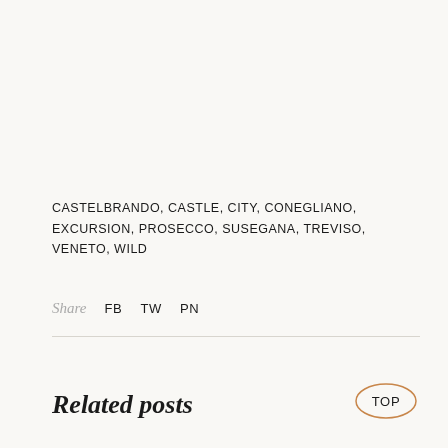CASTELBRANDO, CASTLE, CITY, CONEGLIANO, EXCURSION, PROSECCO, SUSEGANA, TREVISO, VENETO, WILD
Share  FB  TW  PN
Related posts